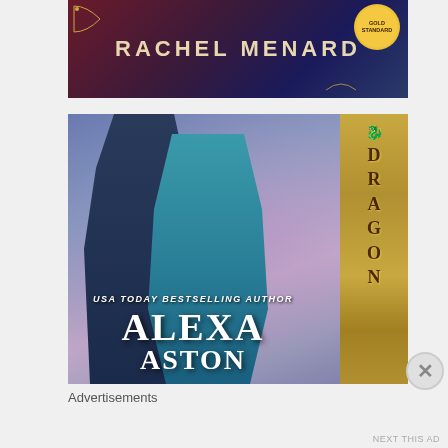[Figure (illustration): Book cover advertisement for Rachel Menard with dark romantic background and gold standard badge]
[Figure (illustration): Book cover for Alexa Aston (USA Today Bestselling Author) showing romantic couple in period costume with gold Dragon spine label]
Advertisements
NEXT THIS AD